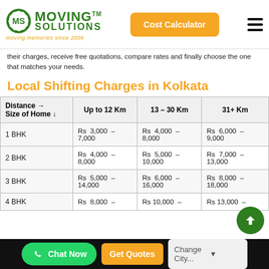Moving Solutions TM — moving memories since 2006 | Cost Calculator
their charges, receive free quotations, compare rates and finally choose the one that matches your needs.
Local Shifting Charges in Kolkata
| Distance → Size of Home ↓ | Up to 12 Km | 13 – 30 Km | 31+ Km |
| --- | --- | --- | --- |
| 1 BHK | Rs 3,000 – 7,000 | Rs 4,000 – 8,000 | Rs 6,000 – 9,000 |
| 2 BHK | Rs 4,000 – 8,000 | Rs 5,000 – 10,000 | Rs 7,000 – 13,000 |
| 3 BHK | Rs 5,000 – 14,000 | Rs 6,000 – 16,000 | Rs 8,000 – 18,000 |
| 4 BHK | Rs 8,000 – | Rs 10,000 – | Rs 13,000 – |
Chat Now | Get Quotes | Change City...